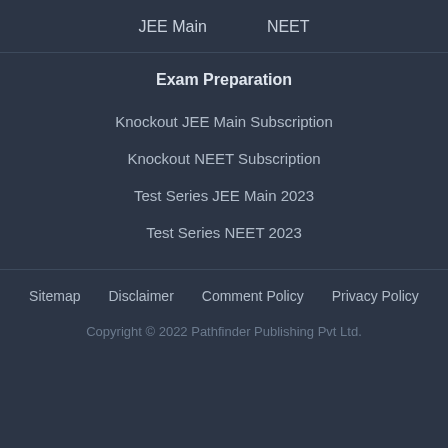JEE Main    NEET
Exam Preparation
Knockout JEE Main Subscription
Knockout NEET Subscription
Test Series JEE Main 2023
Test Series NEET 2023
Sitemap    Disclaimer    Comment Policy    Privacy Policy
Copyright © 2022 Pathfinder Publishing Pvt Ltd.